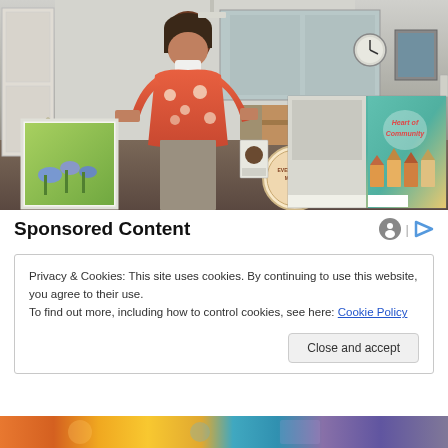[Figure (photo): A woman in an orange floral sweater standing in a room, holding/displaying items including a book titled 'Heart of Community' and a painting of flowers. Room has chairs, tables, a clock on the wall, and a framed picture.]
Sponsored Content
Privacy & Cookies: This site uses cookies. By continuing to use this website, you agree to their use.
To find out more, including how to control cookies, see here: Cookie Policy
Close and accept
[Figure (photo): Colorful strip of images at the bottom of the page]